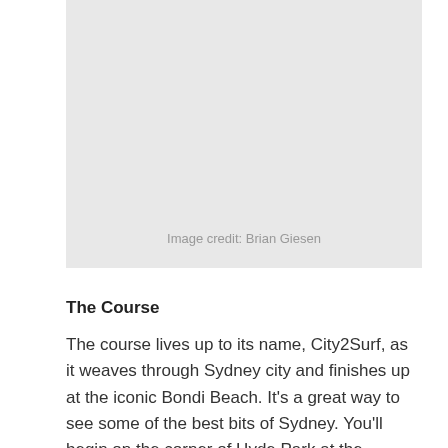[Figure (photo): A light gray placeholder image representing a photo with image credit 'Image credit: Brian Giesen' centered near the bottom.]
The Course
The course lives up to its name, City2Surf, as it weaves through Sydney city and finishes up at the iconic Bondi Beach. It's a great way to see some of the best bits of Sydney. You'll begin on the corner of Hyde Park at the intersection of Park and College Street before travelling up